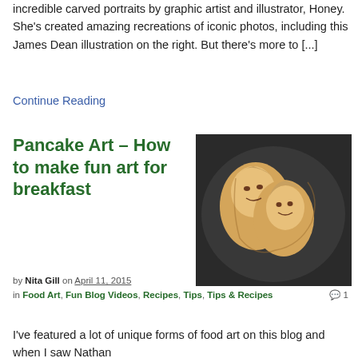incredible carved portraits by graphic artist and illustrator, Honey. She's created amazing recreations of iconic photos, including this James Dean illustration on the right. But there's more to [...]
Continue Reading
Pancake Art – How to make fun art for breakfast
[Figure (photo): Photo of two pancake art characters resembling Elsa and Anna from Frozen, arranged on a dark plate/pan.]
by Nita Gill on April 11, 2015 in Food Art, Fun Blog Videos, Recipes, Tips, Tips & Recipes  1
I've featured a lot of unique forms of food art on this blog and when I saw Nathan